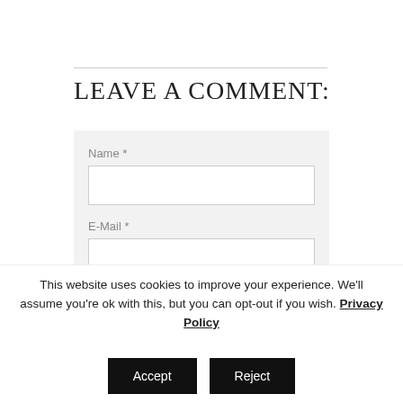LEAVE A COMMENT:
Name *
E-Mail *
This website uses cookies to improve your experience. We'll assume you're ok with this, but you can opt-out if you wish. Privacy Policy
Accept
Reject